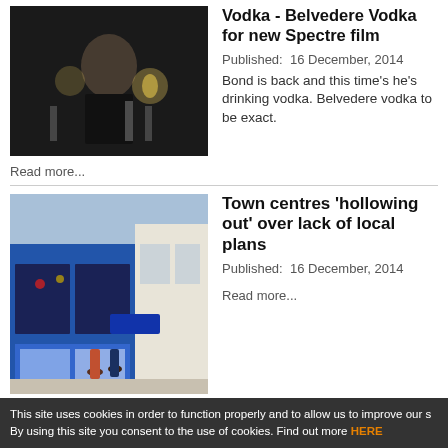[Figure (photo): Man in tuxedo holding a drink at a bar with champagne glasses]
Vodka - Belvedere Vodka for new Spectre film
Published:  16 December, 2014
Bond is back and this time's he's drinking vodka. Belvedere vodka to be exact.
Read more...
[Figure (photo): Town centre street with blue-fronted shops and people walking on pavement]
Town centres 'hollowing out' over lack of local plans
Published:  16 December, 2014
Read more...
[Figure (photo): Dark green circular logo/icon for Instil Drinks]
Instil Drinks appoints
This site uses cookies in order to function properly and to allow us to improve our s By using this site you consent to the use of cookies. Find out more HERE